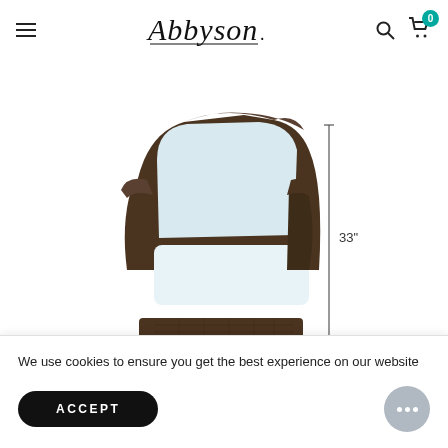Abbyson — navigation header with hamburger menu, logo, search icon, and cart (0 items)
[Figure (photo): Wicker outdoor lounge chair with light blue/white cushions on seat and back, dark brown woven rattan frame, shown with a dimension line indicating 33 inches height on the right side]
We use cookies to ensure you get the best experience on our website
ACCEPT